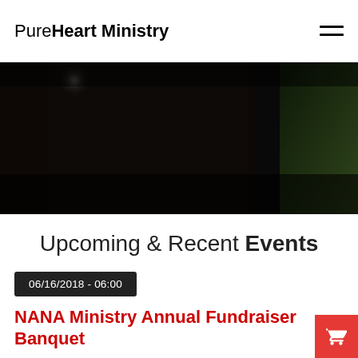PureHeart Ministry
[Figure (photo): Dark hero image with dim lighting, partially visible person and greenish tones in the right corner]
Upcoming & Recent Events
06/16/2018 - 06:00
NANA Ministry Annual Fundraiser Banquet
NANA Ministry invites everyone in the Phoenix area to attend our 3rd annual NANA Ministry love a child fundraiser banqu